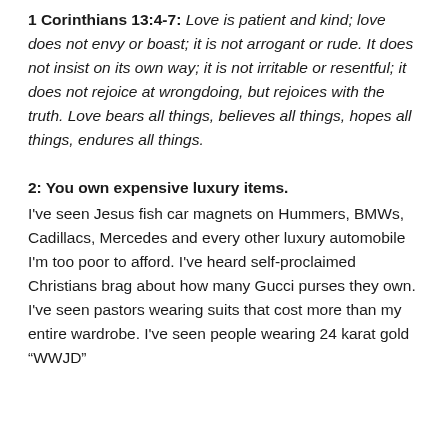1 Corinthians 13:4-7: Love is patient and kind; love does not envy or boast; it is not arrogant or rude. It does not insist on its own way; it is not irritable or resentful; it does not rejoice at wrongdoing, but rejoices with the truth. Love bears all things, believes all things, hopes all things, endures all things.
2: You own expensive luxury items.
I've seen Jesus fish car magnets on Hummers, BMWs, Cadillacs, Mercedes and every other luxury automobile I'm too poor to afford. I've heard self-proclaimed Christians brag about how many Gucci purses they own. I've seen pastors wearing suits that cost more than my entire wardrobe. I've seen people wearing 24 karat gold “WWJD”